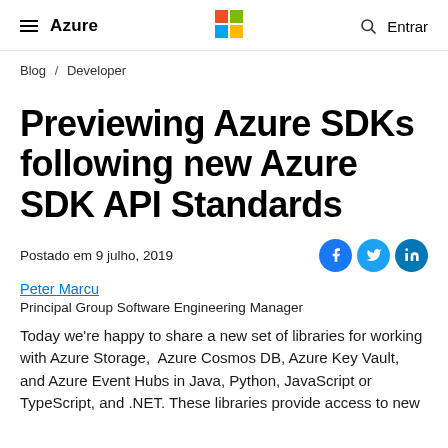Azure | Microsoft | Entrar
Blog / Developer
Previewing Azure SDKs following new Azure SDK API Standards
Postado em 9 julho, 2019
Peter Marcu
Principal Group Software Engineering Manager
Today we're happy to share a new set of libraries for working with Azure Storage,  Azure Cosmos DB, Azure Key Vault, and Azure Event Hubs in Java, Python, JavaScript or TypeScript, and .NET. These libraries provide access to new